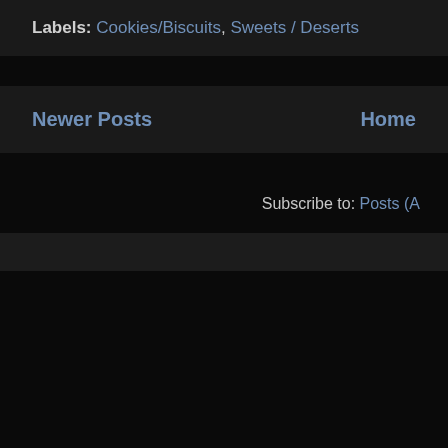Labels: Cookies/Biscuits, Sweets / Deserts
Newer Posts    Home
Subscribe to: Posts (A